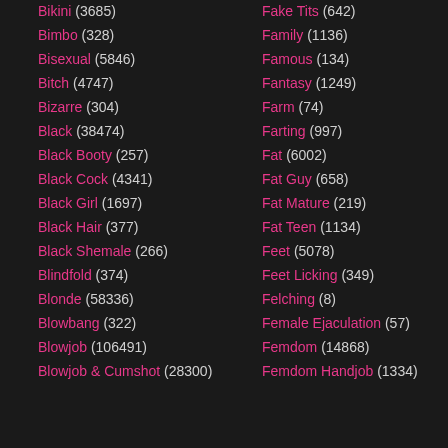Bikini (3685)
Bimbo (328)
Bisexual (5846)
Bitch (4747)
Bizarre (304)
Black (38474)
Black Booty (257)
Black Cock (4341)
Black Girl (1697)
Black Hair (377)
Black Shemale (266)
Blindfold (374)
Blonde (58336)
Blowbang (322)
Blowjob (106491)
Blowjob & Cumshot (28300)
Fake Tits (642)
Family (1136)
Famous (134)
Fantasy (1249)
Farm (74)
Farting (997)
Fat (6002)
Fat Guy (658)
Fat Mature (219)
Fat Teen (1134)
Feet (5078)
Feet Licking (349)
Felching (8)
Female Ejaculation (57)
Femdom (14868)
Femdom Handjob (1334)